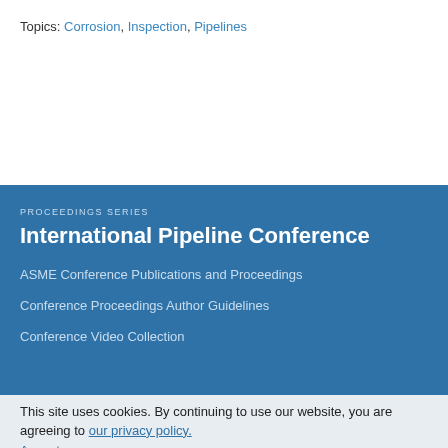Topics: Corrosion, Inspection, Pipelines
PROCEEDINGS SERIES
International Pipeline Conference
ASME Conference Publications and Proceedings
Conference Proceedings Author Guidelines
Conference Video Collection
This site uses cookies. By continuing to use our website, you are agreeing to our privacy policy. Accept